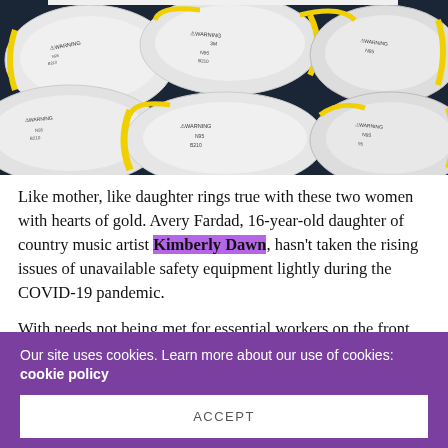[Figure (photo): A pile of white N95 respirator masks with yellow straps. Masks show 3M branding, WARNING labels, and model numbers like B210 and N95.]
Like mother, like daughter rings true with these two women with hearts of gold. Avery Fardad, 16-year-old daughter of country music artist Kimberly Dawn, hasn't taken the rising issues of unavailable safety equipment lightly during the COVID-19 pandemic.

With needs not being met for essential workers on the front lines, that continue to serve and protect
Our site uses cookies. Learn more about our use of cookies: cookie policy
ACCEPT